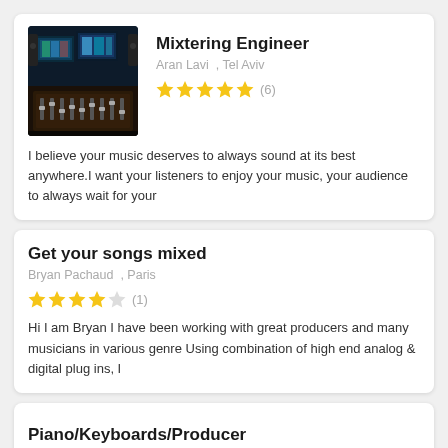Mixtering Engineer
Aran Lavi , Tel Aviv
★★★★★ (6)
I believe your music deserves to always sound at its best anywhere.I want your listeners to enjoy your music, your audience to always wait for your
Get your songs mixed
Bryan Pachaud , Paris
★★★★☆ (1)
Hi I am Bryan I have been working with great producers and many musicians in various genre Using combination of high end analog & digital plug ins, I
Piano/Keyboards/Producer
Amir Efrat , St. Louis